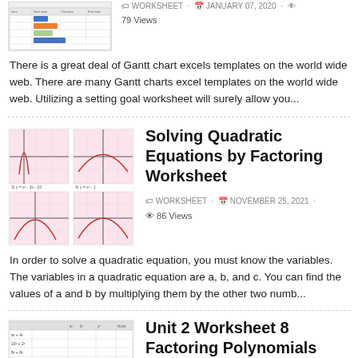[Figure (screenshot): Thumbnail image of a Gantt chart spreadsheet template]
WORKSHEET · JANUARY 07, 2020 · 79 Views
There is a great deal of Gantt chart excels templates on the world wide web. There are many Gantt charts excel templates on the world wide web. Utilizing a setting goal worksheet will surely allow you...
Solving Quadratic Equations by Factoring Worksheet
[Figure (screenshot): Four coordinate plane graphs showing quadratic equations with shaded regions, pink/red parabola curves]
WORKSHEET · NOVEMBER 25, 2021 · 86 Views
In order to solve a quadratic equation, you must know the variables. The variables in a quadratic equation are a, b, and c. You can find the values of a and b by multiplying them by the other two numb...
Unit 2 Worksheet 8 Factoring Polynomials
[Figure (screenshot): Thumbnail image of a worksheet table about factoring polynomials with columns and rows of algebraic expressions]